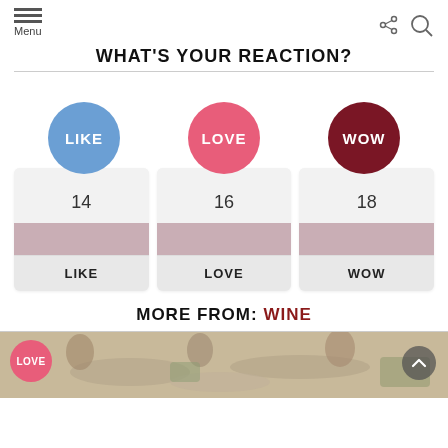Menu
WHAT'S YOUR REACTION?
[Figure (infographic): Three reaction options displayed as colored circles (LIKE in blue, LOVE in pink/red, WOW in dark red) above cards showing counts (14, 16, 18) and labels (LIKE, LOVE, WOW)]
MORE FROM: WINE
[Figure (photo): Bottom strip showing a photo of people sharing food at a table, with a LOVE badge overlay on the left and a scroll-up button on the right]